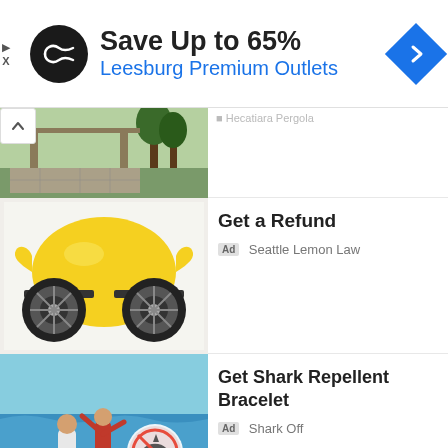[Figure (screenshot): Top advertisement banner: black circular logo with infinity symbol, headline 'Save Up to 65%', subline 'Leesburg Premium Outlets', blue diamond navigation icon on right]
[Figure (screenshot): Partial listing item showing outdoor patio/garden scene with trees]
[Figure (screenshot): Ad listing: lemon shaped as a monster truck car with big wheels, title 'Get a Refund', Ad badge, 'Seattle Lemon Law']
[Figure (screenshot): Ad listing: people surfing with SharkOFF logo overlay, title 'Get Shark Repellent Bracelet', Ad badge, 'Shark Off']
[Figure (screenshot): Partial listing at bottom: 'A Message from your' title visible, BitLife red ad banner with sperm logo and yellow BITLIFE text, Murder popup overlay with 'Do it!' blue button]